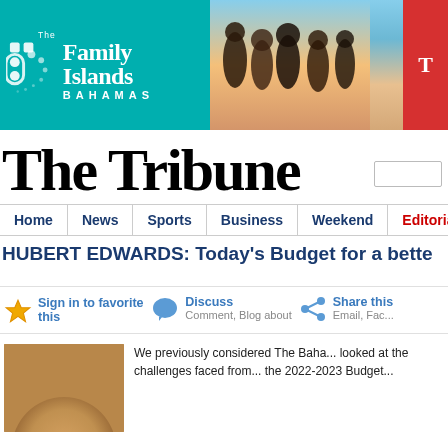[Figure (photo): The Family Islands Bahamas tourism banner ad with women on beach and teal background]
The Tribune
Home | News | Sports | Business | Weekend | Editorial
HUBERT EDWARDS: Today's Budget for a better...
Sign in to favorite this
Discuss
Comment, Blog about
Share this
Email, Fac...
We previously considered The Bahamas... looked at the challenges faced from... the 2022-2023 Budget...